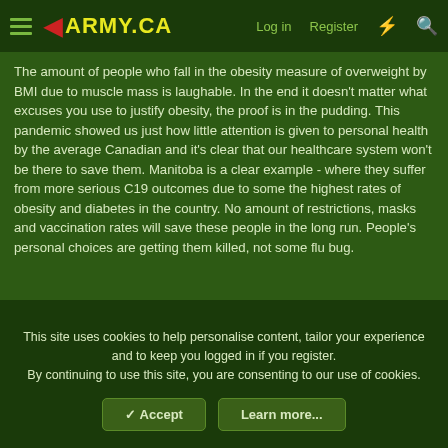ARMY.CA — Log in | Register
The amount of people who fall in the obesity measure of overweight by BMI due to muscle mass is laughable. In the end it doesn't matter what excuses you use to justify obesity, the proof is in the pudding. This pandemic showed us just how little attention is given to personal health by the average Canadian and it's clear that our healthcare system won't be there to save them. Manitoba is a clear example - where they suffer from more serious C19 outcomes due to some the highest rates of obesity and diabetes in the country. No amount of restrictions, masks and vaccination rates will save these people in the long run. People's personal choices are getting them killed, not some flu bug.
Haggis
This site uses cookies to help personalise content, tailor your experience and to keep you logged in if you register.
By continuing to use this site, you are consenting to our use of cookies.